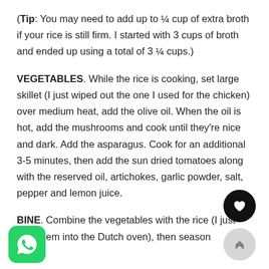(Tip: You may need to add up to ¼ cup of extra broth if your rice is still firm. I started with 3 cups of broth and ended up using a total of 3 ¼ cups.)
VEGETABLES. While the rice is cooking, set large skillet (I just wiped out the one I used for the chicken) over medium heat, add the olive oil. When the oil is hot, add the mushrooms and cook until they're nice and dark. Add the asparagus. Cook for an additional 3-5 minutes, then add the sun dried tomatoes along with the reserved oil, artichokes, garlic powder, salt, pepper and lemon juice.
COMBINE. Combine the vegetables with the rice (I just toss them into the Dutch oven), then season